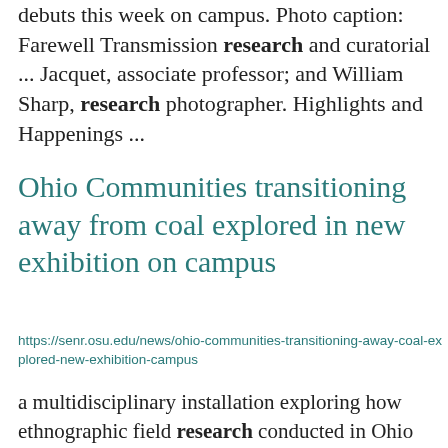debuts this week on campus. Photo caption: Farewell Transmission research and curatorial ... Jacquet, associate professor; and William Sharp, research photographer. Highlights and Happenings ...
Ohio Communities transitioning away from coal explored in new exhibition on campus
https://senr.osu.edu/news/ohio-communities-transitioning-away-coal-explored-new-exhibition-campus
a multidisciplinary installation exploring how ethnographic field research conducted in Ohio coal communities can be ... research